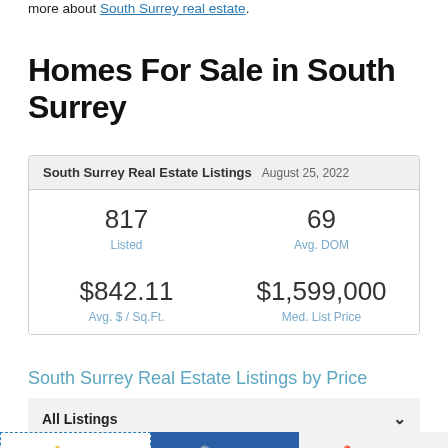more about South Surrey real estate.
Homes For Sale in South Surrey
| South Surrey Real Estate Listings | August 25, 2022 |
| --- | --- |
| 817 Listed | 69 Avg. DOM |
| $842.11 Avg. $ / Sq.Ft. | $1,599,000 Med. List Price |
South Surrey Real Estate Listings by Price
All Listings
Alerts!   Refine   Map View